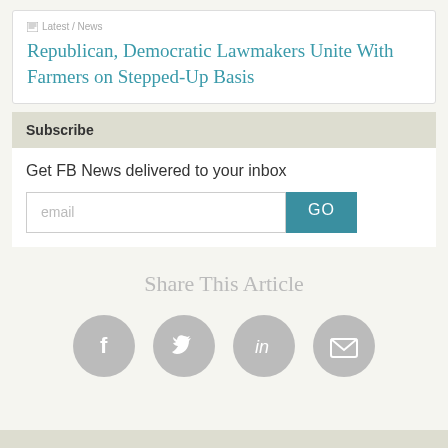Latest / News
Republican, Democratic Lawmakers Unite With Farmers on Stepped-Up Basis
Subscribe
Get FB News delivered to your inbox
[Figure (screenshot): Email subscription input box with placeholder text 'email' and a teal GO button]
Share This Article
[Figure (infographic): Four grey circular social share icons: Facebook, Twitter, LinkedIn, Email]